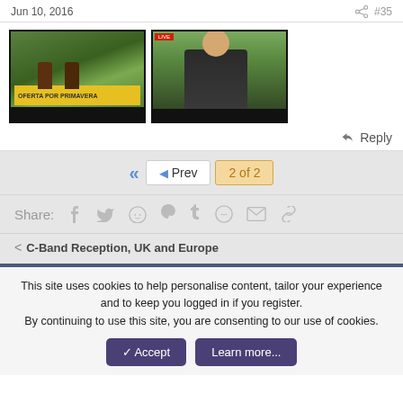Jun 10, 2016  #35
[Figure (photo): Two thumbnail images from TV screens. Left image shows two people in a field with a yellow lower-third graphic. Right image shows a man in a suit in front of white flowers.]
Reply
Prev  2 of 2
Share:
< C-Band Reception, UK and Europe
This site uses cookies to help personalise content, tailor your experience and to keep you logged in if you register.
By continuing to use this site, you are consenting to our use of cookies.
Accept  Learn more...